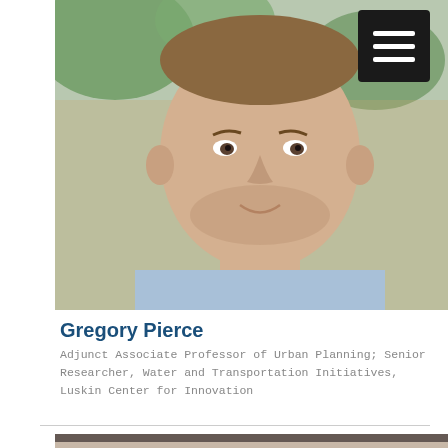[Figure (photo): Headshot photo of Gregory Pierce, a man in a blue checkered shirt, smiling, outdoors with green foliage in background]
Gregory Pierce
Adjunct Associate Professor of Urban Planning; Senior Researcher, Water and Transportation Initiatives, Luskin Center for Innovation
[Figure (photo): Partial headshot photo of a second person, dark hair, cropped at top of page section]